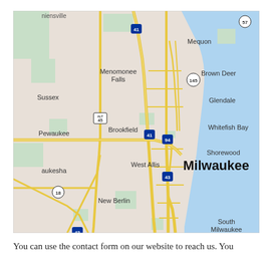[Figure (map): Google Maps screenshot showing Milwaukee, Wisconsin area including surrounding suburbs: Mequon, Menomonee Falls, Brown Deer, Sussex, Glendale, Whitefish Bay, Shorewood, Brookfield, Pewaukee, West Allis, Milwaukee, Waukesha, New Berlin, Muskego, Franklin, South Milwaukee, Oak Creek. Major highways shown: I-41, I-94, I-43, US-45 ALT, US-18, US-57, US-145. Lake Michigan visible on the right side in light blue.]
You can use the contact form on our website to reach us. You